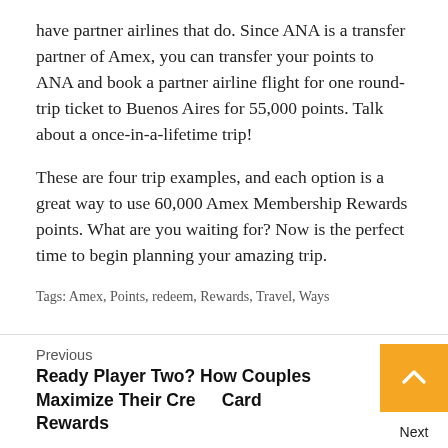have partner airlines that do. Since ANA is a transfer partner of Amex, you can transfer your points to ANA and book a partner airline flight for one round-trip ticket to Buenos Aires for 55,000 points. Talk about a once-in-a-lifetime trip!
These are four trip examples, and each option is a great way to use 60,000 Amex Membership Rewards points. What are you waiting for? Now is the perfect time to begin planning your amazing trip.
Tags: Amex, Points, redeem, Rewards, Travel, Ways
Previous
Ready Player Two? How Couples Maximize Their Credit Card Rewards
Next